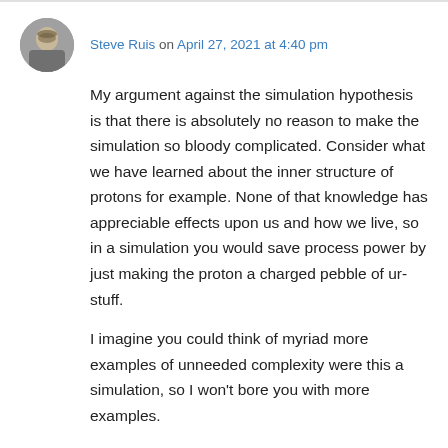Steve Ruis on April 27, 2021 at 4:40 pm
My argument against the simulation hypothesis is that there is absolutely no reason to make the simulation so bloody complicated. Consider what we have learned about the inner structure of protons for example. None of that knowledge has appreciable effects upon us and how we live, so in a simulation you would save process power by just making the proton a charged pebble of ur-stuff.
I imagine you could think of myriad more examples of unneeded complexity were this a simulation, so I won't bore you with more examples.